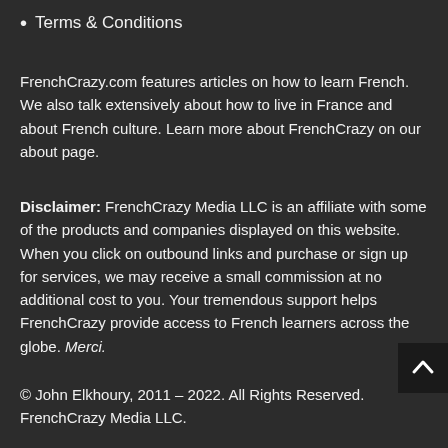Terms & Conditions
FrenchCrazy.com features articles on how to learn French. We also talk extensively about how to live in France and about French culture. Learn more about FrenchCrazy on our about page.
Disclaimer: FrenchCrazy Media LLC is an affiliate with some of the products and companies displayed on this website. When you click on outbound links and purchase or sign up for services, we may receive a small commission at no additional cost to you. Your tremendous support helps FrenchCrazy provide access to French learners across the globe. Merci.
© John Elkhoury, 2011 – 2022. All Rights Reserved. FrenchCrazy Media LLC.